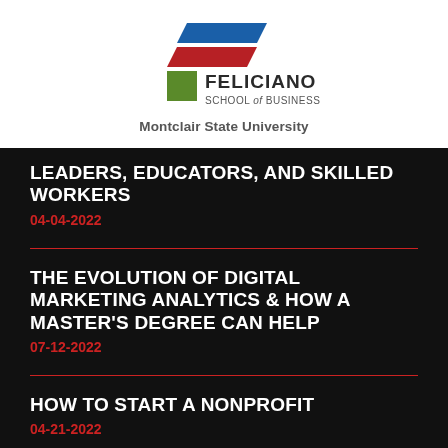[Figure (logo): Feliciano School of Business, Montclair State University logo with geometric shapes in blue, red, and green]
LEADERS, EDUCATORS, AND SKILLED WORKERS
04-04-2022
THE EVOLUTION OF DIGITAL MARKETING ANALYTICS & HOW A MASTER'S DEGREE CAN HELP
07-12-2022
HOW TO START A NONPROFIT
04-21-2022